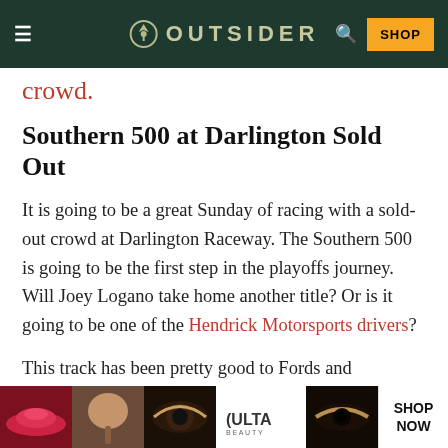OUTSIDER
crowd.
Southern 500 at Darlington Sold Out
It is going to be a great Sunday of racing with a sold-out crowd at Darlington Raceway. The Southern 500 is going to be the first step in the playoffs journey. Will Joey Logano take home another title? Or is it going to be one of the Hendrick Motorsports drivers?
This track has been pretty good to Fords and
SHOP NOW